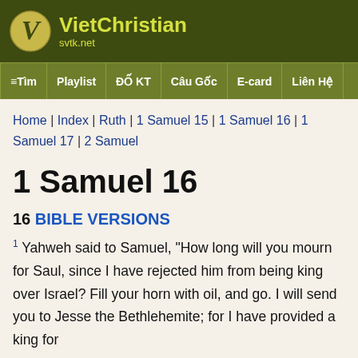VietChristian svtk.net
≡ Tìm | Playlist | ĐỐ KT | Câu Gốc | E-card | Liên Hệ
Home | Index | Ruth | 1 Samuel 15 | 1 Samuel 16 | 1 Samuel 17 | 2 Samuel
1 Samuel 16
16 BIBLE VERSIONS
1 Yahweh said to Samuel, "How long will you mourn for Saul, since I have rejected him from being king over Israel? Fill your horn with oil, and go. I will send you to Jesse the Bethlehemite; for I have provided a king for